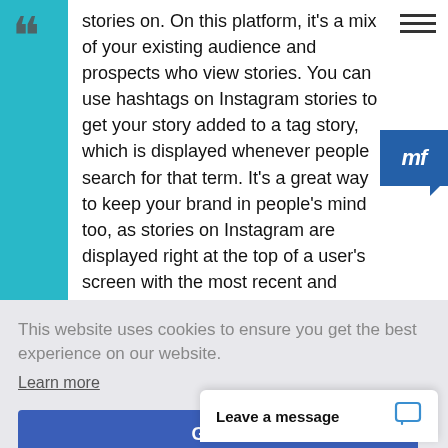stories on. On this platform, it's a mix of your existing audience and prospects who view stories. You can use hashtags on Instagram stories to get your story added to a tag story, which is displayed whenever people search for that term. It's a great way to keep your brand in people's mind too, as stories on Instagram are displayed right at the top of a user's screen with the most recent and relevant being displayed first.
This website uses cookies to ensure you get the best experience on our website.
Learn more
Got it!
Leave a message